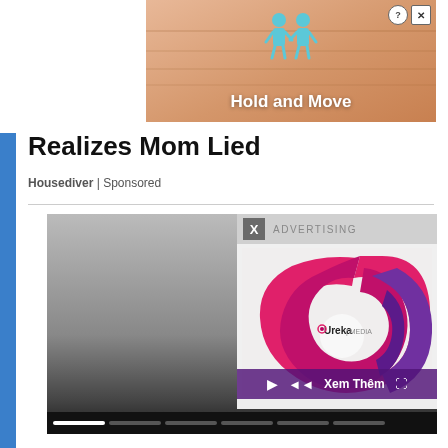[Figure (screenshot): Top banner advertisement showing 'Hold and Move' app/game with two cartoon figures on a wooden surface background, with close (X) and help (?) buttons]
Realizes Mom Lied
Housediver | Sponsored
[Figure (screenshot): Video player area showing a gray gradient video with an overlaid advertising popup for 'Ureka Media' showing their logo (pink/purple spiral) with 'Xem Thêm' text and play/volume controls, plus an X dismiss button and 'ADVERTISING' label]
ADVERTISING